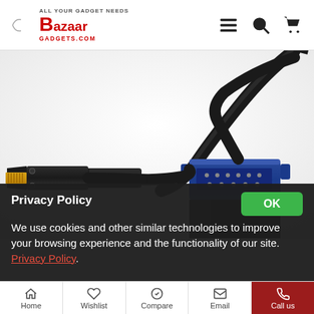Bazaar Gadgets - All Your Gadget Needs
[Figure (photo): Close-up photo of an HDMI to VGA cable adapter. The left side shows a gold-plated HDMI connector (black housing) and the right side shows a blue VGA connector. A black cable runs between them.]
Privacy Policy
We use cookies and other similar technologies to improve your browsing experience and the functionality of our site. Privacy Policy.
Home | Wishlist | Compare | Email | Call us